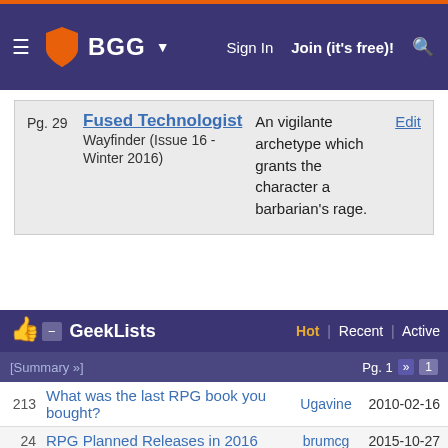BGG navigation bar with Sign In, Join (it's free)!, search
Pg. 29
Fused Technologist
Wayfinder (Issue 16 - Winter 2016)
An vigilante archetype which grants the character a barbarian's rage.
Edit
GeekLists  Hot | Recent | Active  Pg. 1 [Summary »]
| # | Title | User | Date |
| --- | --- | --- | --- |
| 213 | What was the last RPG book you bought? | Ugavine | 2010-02-16 |
| 24 | RPG Planned Releases in 2016 | brumcg | 2015-10-27 |
| 17 | Your RPG Thrift Store/Bargain Finds: Q1 2018 (Jan. - Mar. 2018) | CinMel | 2017-12-31 |
| 15 | Happy Un-Birthday 2016: The Results | oberon166 | 2016-07-11 |
| 6 | PC: Burnt Offerings | taen | 2016-03-21 |
| 5 | PzVIE's Pathfinder Books | PzVIE | 2015-01-23 |
| - | Pathfinder PbE Character Geeklist: |  |  |